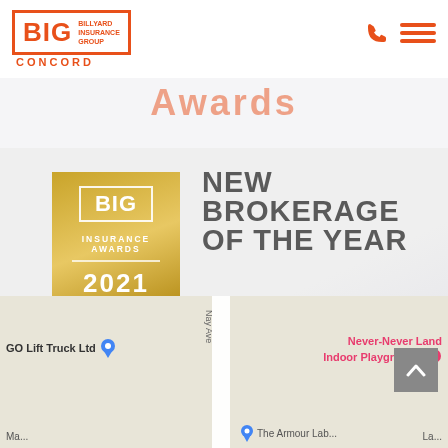[Figure (logo): Billyard Insurance Group (BIG) logo with orange border and text, CONCORD label below]
[Figure (other): Navigation icons: phone and hamburger menu in orange]
Awards
[Figure (other): Gold BIG Insurance Awards 2021 badge/trophy icon with pentagon shape]
NEW BROKERAGE OF THE YEAR
BIG Insurance Awards
2021
[Figure (map): Google Maps partial view showing GO Lift Truck Ltd, Never-Never Land Indoor Playground, Nay Ave road label, and partial street view]